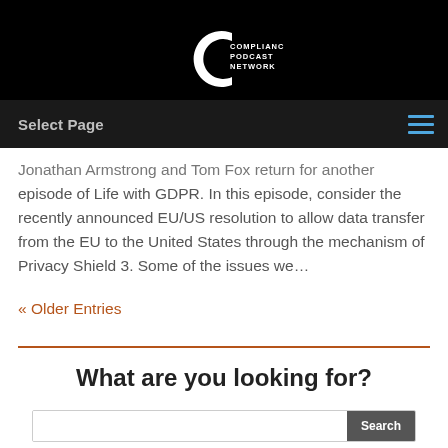[Figure (logo): Compliance Podcast Network logo — white C shape with text 'COMPLIANCE PODCAST NETWORK' on black background]
Select Page
Jonathan Armstrong and Tom Fox return for another episode of Life with GDPR. In this episode, consider the recently announced EU/US resolution to allow data transfer from the EU to the United States through the mechanism of Privacy Shield 3. Some of the issues we…
« Older Entries
What are you looking for?